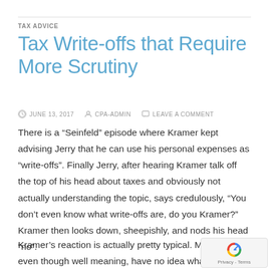TAX ADVICE
Tax Write-offs that Require More Scrutiny
JUNE 13, 2017  CPA-ADMIN  LEAVE A COMMENT
There is a “Seinfeld” episode where Kramer kept advising Jerry that he can use his personal expenses as “write-offs”. Finally Jerry, after hearing Kramer talk off the top of his head about taxes and obviously not actually understanding the topic, says credulously, “You don’t even know what write-offs are, do you Kramer?” Kramer then looks down, sheepishly, and nods his head “no”.
Kramer’s reaction is actually pretty typical. Most people, even though well meaning, have no idea what is a “tax write-